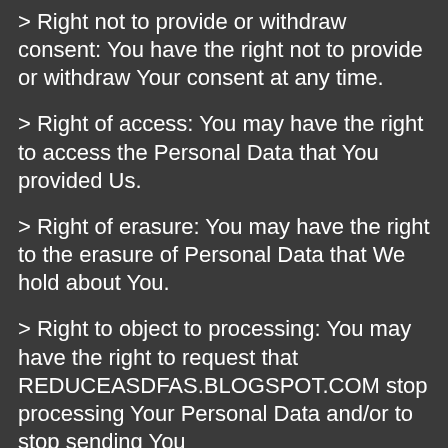> Right not to provide or withdraw consent: You have the right not to provide or withdraw Your consent at any time.
> Right of access: You may have the right to access the Personal Data that You provided Us.
> Right of erasure: You may have the right to the erasure of Personal Data that We hold about You.
> Right to object to processing: You may have the right to request that REDUCEASDFAS.BLOGSPOT.COM stop processing Your Personal Data and/or to stop sending You